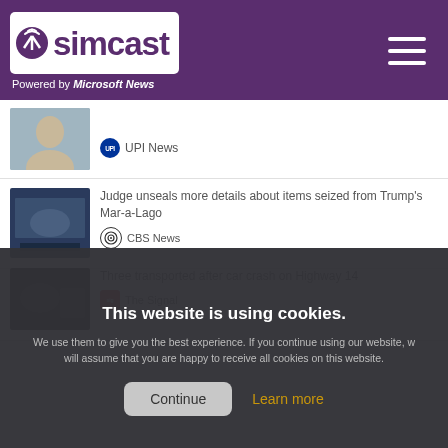simcast — Powered by Microsoft News
UPI News
Judge unseals more details about items seized from Trump's Mar-a-Lago — CBS News
Three transported after car crash on Highway 14 — The Signal
This website is using cookies. We use them to give you the best experience. If you continue using our website, we will assume that you are happy to receive all cookies on this website.
Continue
Learn more
Trump Rages, Claiming Barron's Room Was Subjected to a 'Deep and Ugly' Search: 'The FBI and the Justice Department Have Become Vicious Monsters' — Mediaite
Teenager killed, multiple people injured at 7-Eleven shooting